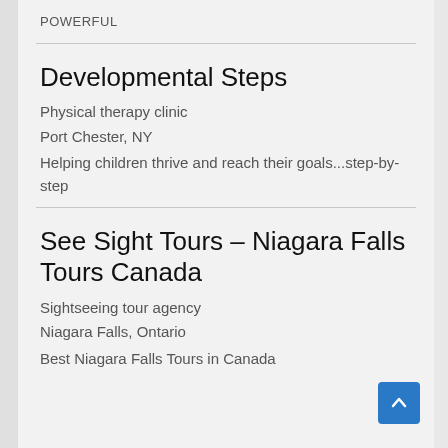POWERFUL
Developmental Steps
Physical therapy clinic
Port Chester, NY
Helping children thrive and reach their goals...step-by-step
See Sight Tours – Niagara Falls Tours Canada
Sightseeing tour agency
Niagara Falls, Ontario
Best Niagara Falls Tours in Canada